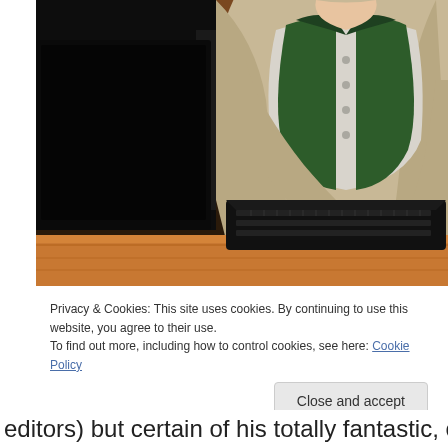[Figure (illustration): 3D rendered scene of a Sims-style character wearing a green cardigan over a white shirt and a light jacket, typing at a black keyboard on a wooden desk. The scene is viewed from a low angle showing the character's torso and hands on the keyboard.]
Privacy & Cookies: This site uses cookies. By continuing to use this website, you agree to their use.
To find out more, including how to control cookies, see here: Cookie Policy
Close and accept
editors) but certain of his totally fantastic, completely